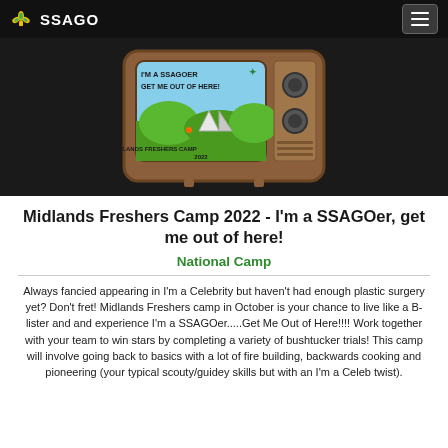SSAGO
[Figure (photo): A retro television set badge/badge design showing 'I'm a SSAGOer Get Me Out of Here!' with a Scout fleur-de-lis, a camp scene with tents and hills, and text 'Midlands Freshers Camp 2022' on the TV screen, displayed against a dark background.]
Midlands Freshers Camp 2022 - I'm a SSAGOer, get me out of here!
National Camp
Always fancied appearing in I'm a Celebrity but haven't had enough plastic surgery yet? Don't fret! Midlands Freshers camp in October is your chance to live like a B-lister and and experience I'm a SSAGOer.....Get Me Out of Here!!!! Work together with your team to win stars by completing a variety of bushtucker trials! This camp will involve going back to basics with a lot of fire building, backwards cooking and pioneering (your typical scouty/guidey skills but with an I'm a Celeb twist).